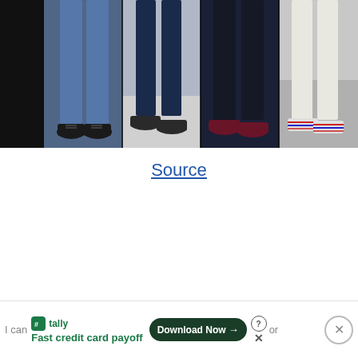[Figure (photo): Fashion photo strip showing lower halves of people wearing different shoes and pants: black background on far left, then jeans with dark oxford shoes, navy trousers with loafers, dark pants with burgundy velvet slippers, and white jeans with striped slip-on sneakers.]
Source
[Figure (screenshot): Advertisement banner for Tally app showing 'Fast credit card payoff' with a Download Now button and close controls.]